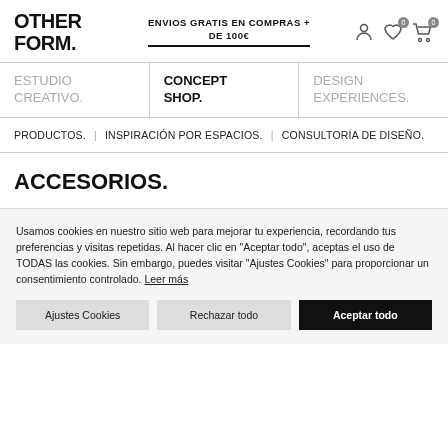OTHER FORM.
ENVIOS GRATIS EN COMPRAS + DE 100€
ESTUDIO CREATIVO.
CONCEPT SHOP.
DESIGN EXPERIENCES.
PRODUCTOS. | INSPIRACIÓN POR ESPACIOS. | CONSULTORÍA DE DISEÑO.
ACCESORIOS.
Usamos cookies en nuestro sitio web para mejorar tu experiencia, recordando tus preferencias y visitas repetidas. Al hacer clic en "Aceptar todo", aceptas el uso de TODAS las cookies. Sin embargo, puedes visitar "Ajustes Cookies" para proporcionar un consentimiento controlado. Leer más
Ajustes Cookies
Rechazar todo
Aceptar todo